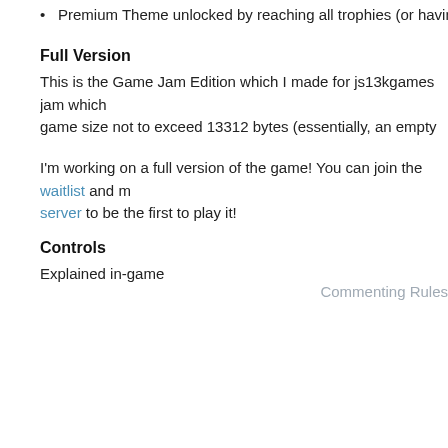Premium Theme unlocked by reaching all trophies (or having Coil m…
Full Version
This is the Game Jam Edition which I made for js13kgames jam which … game size not to exceed 13312 bytes (essentially, an empty Word docu…
I'm working on a full version of the game! You can join the waitlist and m… server to be the first to play it!
Controls
Explained in-game
Commenting Rules